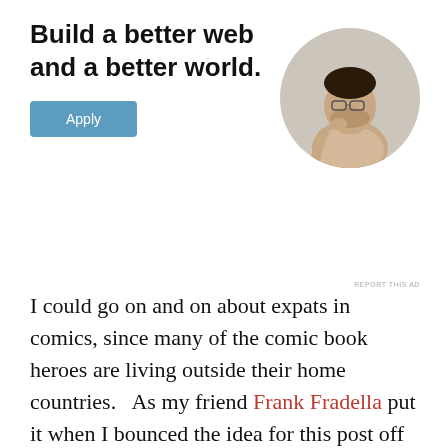Build a better web and a better world.
[Figure (photo): Circular portrait photo of a man thinking, resting his chin on his hand]
Apply
REPORT THIS AD
I could go on and on about expats in comics, since many of the comic book heroes are living outside their home countries.   As my friend Frank Fradella put it when I bounced the idea for this post off of him, “…and geez… the entire “new” X-Men were expats. Storm, Colossus, Banshee, Sunfire, Nightcrawler.”  Frank is right-  if I keep listing comic